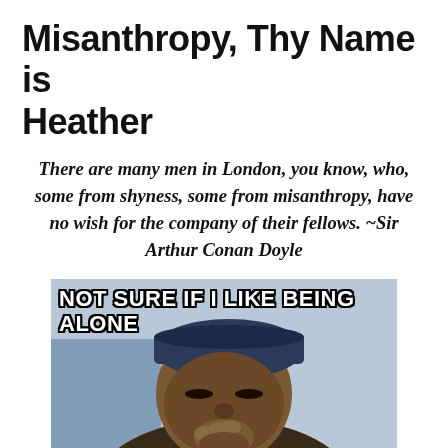Misanthropy, Thy Name is Heather
There are many men in London, you know, who, some from shyness, some from misanthropy, have no wish for the company of their fellows. ~Sir Arthur Conan Doyle
[Figure (photo): Meme image of a man squinting thoughtfully with text overlay reading 'NOT SURE IF I LIKE BEING ALONE']